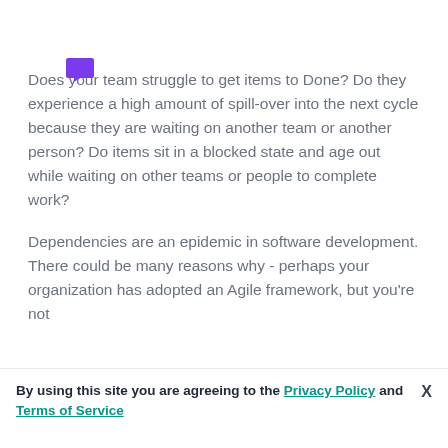[Figure (other): Purple speech bubble / chat icon]
Does your team struggle to get items to Done? Do they experience a high amount of spill-over into the next cycle because they are waiting on another team or another person? Do items sit in a blocked state and age out while waiting on other teams or people to complete work?
Dependencies are an epidemic in software development. There could be many reasons why - perhaps your organization has adopted an Agile framework, but you're not
By using this site you are agreeing to the Privacy Policy and Terms of Service